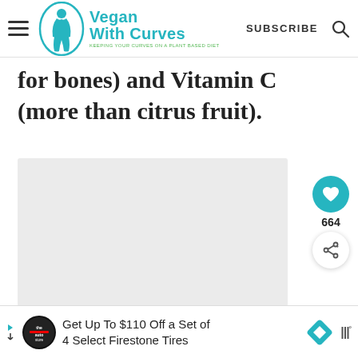Vegan With Curves — KEEPING YOUR CURVES ON A PLANT BASED DIET | SUBSCRIBE
for bones) and Vitamin C (more than citrus fruit).
[Figure (photo): Image placeholder area (light gray background), part of a recipe or food article on Vegan With Curves website. Pagination dots visible below.]
664
WHAT'S NEXT → Breakfast Potato Hash...
Get Up To $110 Off a Set of 4 Select Firestone Tires